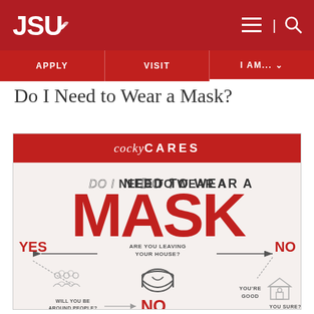JSU | APPLY | VISIT | I AM...
Do I Need to Wear a Mask?
[Figure (infographic): CockyCares infographic titled 'DO I NEED TO WEAR A MASK?' with a flowchart. The chart shows: center question 'ARE YOU LEAVING YOUR HOUSE?' with arrows pointing left to YES and right to NO. Under YES with arrow down: people icons labeled 'WILL YOU BE AROUND PEOPLE?' with arrow to NO below. Under NO: icons showing person at home labeled 'YOU'RE GOOD'. Center shows mask icon. Bottom shows 'NO' and 'YOU SURE?' text.]